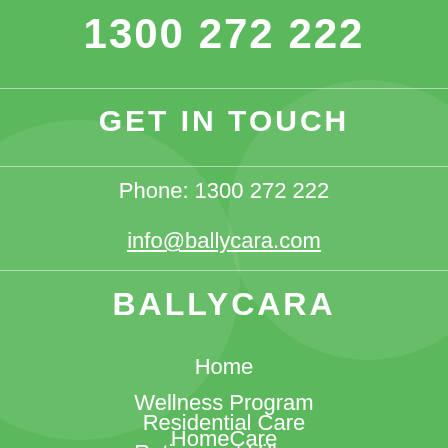1300 272 222
GET IN TOUCH
Phone: 1300 272 222
info@ballycara.com
BALLYCARA
Home
Wellness Program
HomeCare
Residential Care
Retirement Village